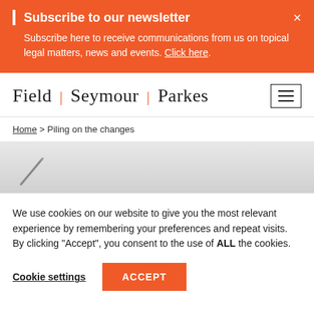Subscribe to our newsletter
Subscribe here to receive communications from us on topical legal matters, news and events. Click here.
[Figure (logo): Field | Seymour | Parkes law firm logo text with orange separator bars]
Home > Piling on the changes
[Figure (photo): Grey hero image area with partial pen/pencil visible]
We use cookies on our website to give you the most relevant experience by remembering your preferences and repeat visits. By clicking “Accept”, you consent to the use of ALL the cookies.
Cookie settings
ACCEPT